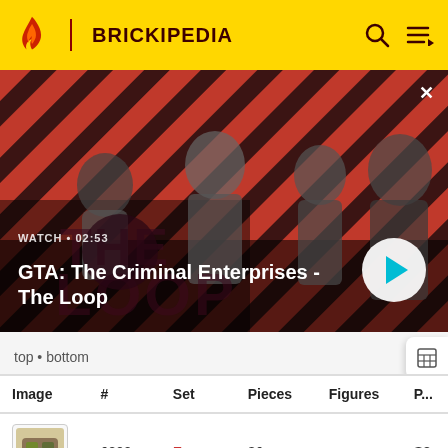BRICKIPEDIA
[Figure (screenshot): GTA: The Criminal Enterprises - The Loop video thumbnail with diagonal red and dark striped background, showing game characters. WATCH • 02:53 label and play button visible.]
top • bottom
| Image | # | Set | Pieces | Figures | P... |
| --- | --- | --- | --- | --- | --- |
| [image] | 6200 | Evo | 36 |  | S8 |